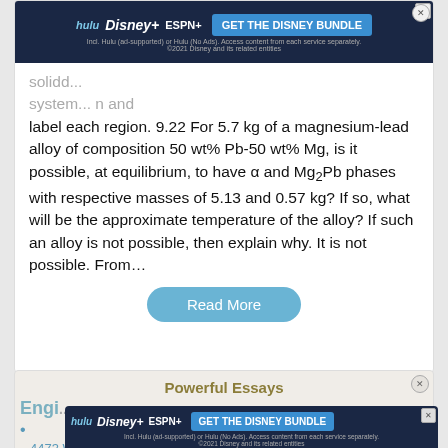[Figure (screenshot): Disney Bundle advertisement banner with Hulu, Disney+, ESPN+ logos and GET THE DISNEY BUNDLE call to action on dark navy background]
solidd... system... n and label each region. 9.22 For 5.7 kg of a magnesium-lead alloy of composition 50 wt% Pb-50 wt% Mg, is it possible, at equilibrium, to have α and Mg₂Pb phases with respective masses of 5.13 and 0.57 kg? If so, what will be the approximate temperature of the alloy? If such an alloy is not possible, then explain why. It is not possible. From…
Read More
Powerful Essays
Engi...
4473 Words
179 Pages
[Figure (screenshot): Disney Bundle advertisement banner with Hulu, Disney+, ESPN+ logos and GET THE DISNEY BUNDLE call to action on dark navy background]